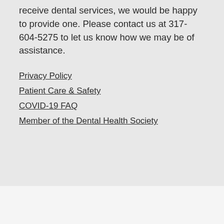disabilities. If you need an accommodation to receive dental services, we would be happy to provide one. Please contact us at 317-604-5275 to let us know how we may be of assistance.
Privacy Policy
Patient Care & Safety
COVID-19 FAQ
Member of the Dental Health Society